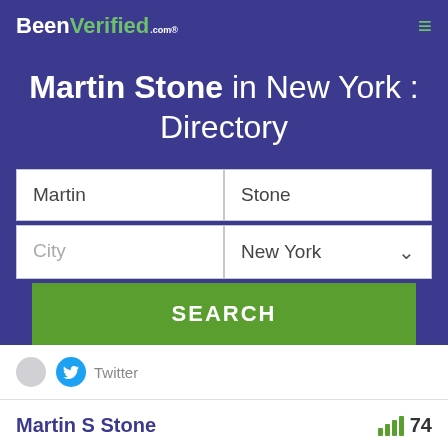BeenVerified.com
Martin Stone in New York : Directory
Martin | Stone | City | New York | SEARCH
Twitter
Martin S Stone  74